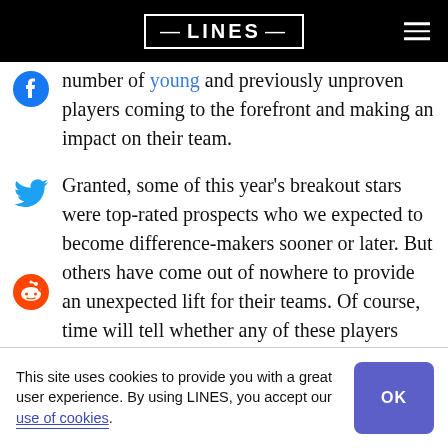LINES
number of young and previously unproven players coming to the forefront and making an impact on their team.
Granted, some of this year's breakout stars were top-rated prospects who we expected to become difference-makers sooner or later. But others have come out of nowhere to provide an unexpected lift for their teams. Of course, time will tell whether any of these players having staying power, but
This site uses cookies to provide you with a great user experience. By using LINES, you accept our use of cookies.